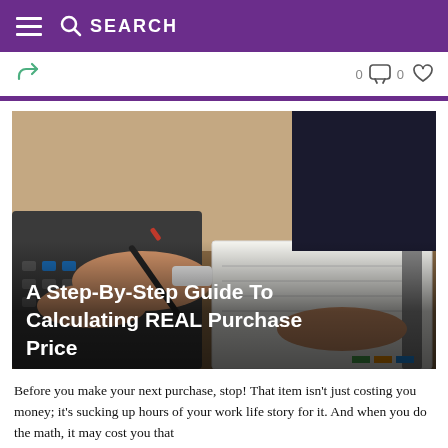SEARCH
[Figure (photo): Person in dark jacket using a calculator and holding a pen over a notebook on a desk — a financial calculation scenario]
A Step-By-Step Guide To Calculating REAL Purchase Price
Before you make your next purchase, stop! That item isn't just costing you money; it's sucking up hours of your work life story for it. And when you do the math, it may cost you that...